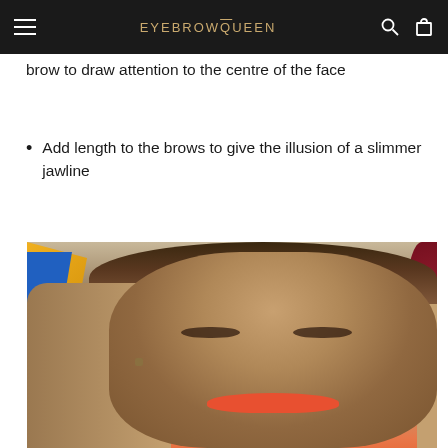EYEBROWQUEEN
brow to draw attention to the centre of the face
Add length to the brows to give the illusion of a slimmer jawline
[Figure (photo): Close-up photo of a woman with brown/blonde wavy hair, natural brows, and orange-red lipstick, photographed at an event with Chevrolet branding in the background]